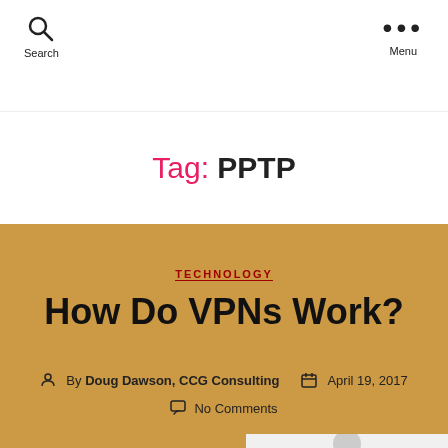Search  Menu
Tag: PPTP
TECHNOLOGY
How Do VPNs Work?
By Doug Dawson, CCG Consulting   April 19, 2017
No Comments
After Congress clarified last month